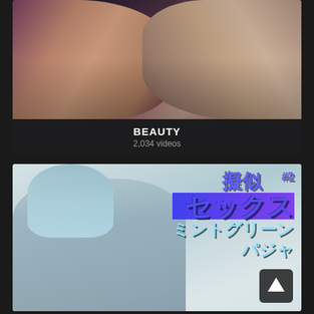[Figure (screenshot): Video thumbnail showing two people kissing close-up, with pink/purple hair visible on the left person]
BEAUTY
2,034 videos
[Figure (screenshot): Anime-style illustration of a figure lying down in mint green pajamas with Japanese text overlay reading 擬似 #2 セックス ミントグリーン パジャ...]
擬似 #2 セックス ミントグリーン パジャ